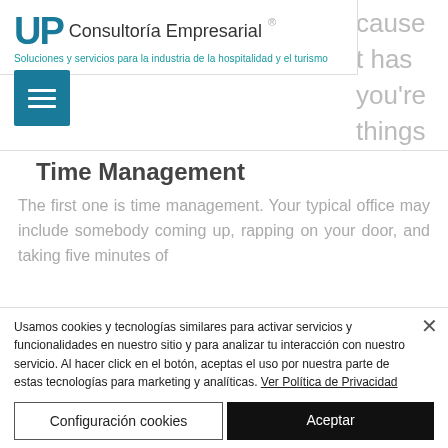UP Consultoría Empresarial ® Soluciones y servicios para la industria de la hospitalidad y el turismo
[Figure (screenshot): Hamburger menu button (teal background, three white horizontal lines)]
Time Management
The first one is time management. Your typical office may include somebody coming up, rapping on your door, and taking five minutes of
Usamos cookies y tecnologías similares para activar servicios y funcionalidades en nuestro sitio y para analizar tu interacción con nuestro servicio. Al hacer click en el botón, aceptas el uso por nuestra parte de estas tecnologías para marketing y analíticas. Ver Política de Privacidad
Configuración cookies | Aceptar